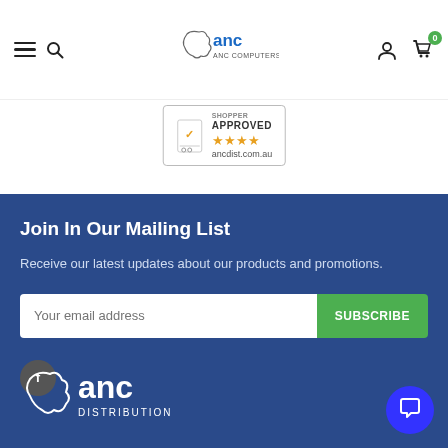[Figure (logo): ANC logo in header center]
[Figure (logo): Shopper Approved badge with 4 orange stars and ancdist.com.au]
Join In Our Mailing List
Receive our latest updates about our products and promotions.
[Figure (other): Email input field with placeholder 'Your email address' and green SUBSCRIBE button]
[Figure (logo): Facebook icon in dark circle]
[Figure (logo): ANC Distribution footer logo in white]
[Figure (other): Blue chat button in bottom right corner]